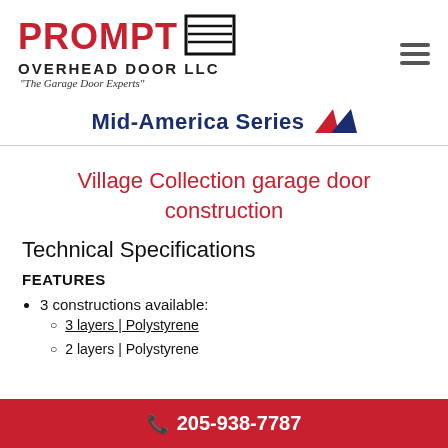[Figure (logo): Prompt Overhead Door LLC logo with garage door icon and tagline 'The Garage Door Experts']
Mid-America Series
Village Collection garage door construction
Technical Specifications
FEATURES
3 constructions available:
3 layers | Polystyrene
2 layers | Polystyrene
📞 205-938-7787